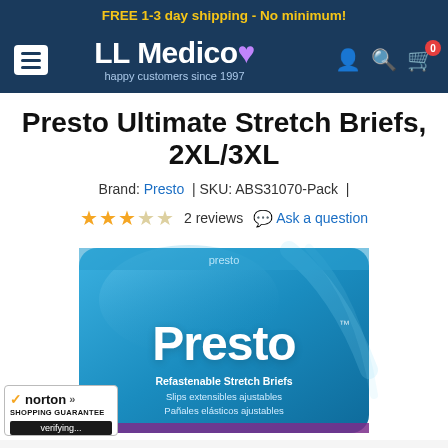FREE 1-3 day shipping - No minimum!
[Figure (logo): LL Medico logo with tagline 'happy customers since 1997' on dark navy background with hamburger menu, user icon, search icon, and cart icon with 0 badge]
Presto Ultimate Stretch Briefs, 2XL/3XL
Brand: Presto | SKU: ABS31070-Pack |
★★★☆☆ 2 reviews   Ask a question
[Figure (photo): Presto Refastenable Stretch Briefs product package in blue. Text on package: Presto, Refastenable Stretch Briefs, Slips extensibles ajustables, Pañales elásticos ajustables]
[Figure (logo): Norton Shopping Guarantee badge with checkmark, verifying... text]